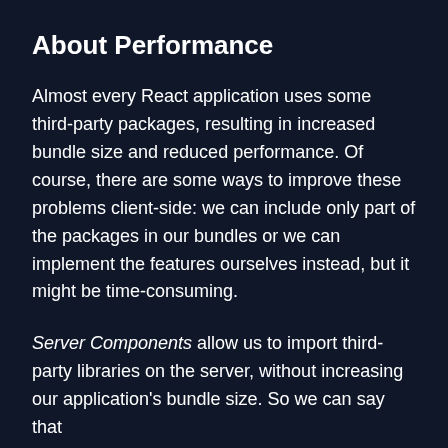About Performance
Almost every React application uses some third-party packages, resulting in increased bundle size and reduced performance. Of course, there are some ways to improve these problems client-side: we can include only part of the packages in our bundles or we can implement the features ourselves instead, but it might be time-consuming.
Server Components allow us to import third-party libraries on the server, without increasing our application's bundle size. So we can say that Server Components are a True Bundle Size...